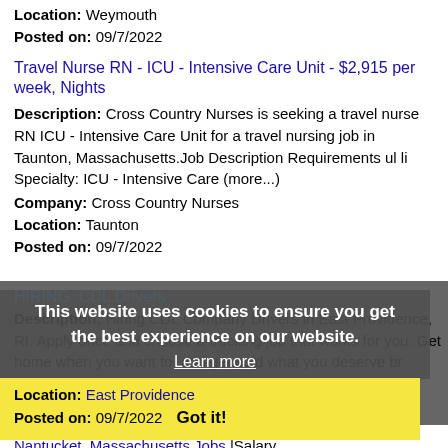Location: Weymouth
Posted on: 09/7/2022
Travel Nurse RN - ICU - Intensive Care Unit - $2,915 per week, Nights
Description: Cross Country Nurses is seeking a travel nurse RN ICU - Intensive Care Unit for a travel nursing job in Taunton, Massachusetts.Job Description Requirements ul li Specialty: ICU - Intensive Care (more...)
Company: Cross Country Nurses
Location: Taunton
Posted on: 09/7/2022
HIRING: CDL Drivers
Description: Hiring CDL Company Drivers in East Providence, RI. Apply once and choose a trucking job that works for you. Get home when you want to, and get paid what you deserve br Available Trucking
Company: Live Trucking
Location: East Providence
Posted on: 09/7/2022
This website uses cookies to ensure you get the best experience on our website. Learn more Got it!
Salary in Nantucket, Massachusetts Area | More details for Nantucket, Massachusetts Jobs |Salary